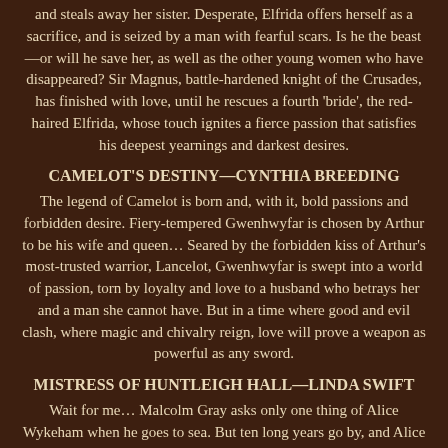and steals away her sister. Desperate, Elfrida offers herself as a sacrifice, and is seized by a man with fearful scars. Is he the beast—or will he save her, as well as the other young women who have disappeared? Sir Magnus, battle-hardened knight of the Crusades, has finished with love, until he rescues a fourth 'bride', the red-haired Elfrida, whose touch ignites a fierce passion that satisfies his deepest yearnings and darkest desires.
CAMELOT'S DESTINY—CYNTHIA BREEDING
The legend of Camelot is born and, with it, bold passions and forbidden desire. Fiery-tempered Gwenhwyfar is chosen by Arthur to be his wife and queen… Seared by the forbidden kiss of Arthur's most-trusted warrior, Lancelot, Gwenhwyfar is swept into a world of passion, torn by loyalty and love to a husband who betrays her and a man she cannot have. But in a time where good and evil clash, where magic and chivalry reign, love will prove a weapon as powerful as any sword.
MISTRESS OF HUNTLEIGH HALL—LINDA SWIFT
Wait for me… Malcolm Gray asks only one thing of Alice Wykeham when he goes to sea. But ten long years go by, and Alice